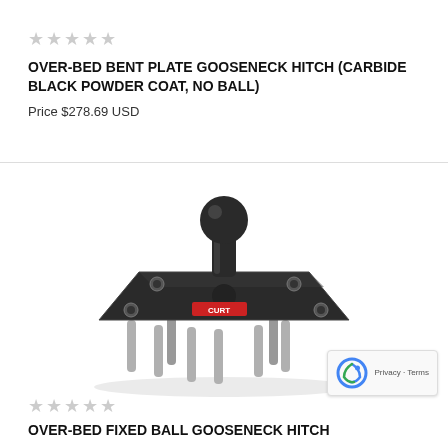★★★★★
OVER-BED BENT PLATE GOOSENECK HITCH (CARBIDE BLACK POWDER COAT, NO BALL)
Price $278.69 USD
[Figure (photo): Product photo of a gooseneck hitch with a black ball mount on a flat square black plate with silver legs/pins extending downward, with a CURT brand logo on the plate]
★★★★★
OVER-BED FIXED BALL GOOSENECK HITCH